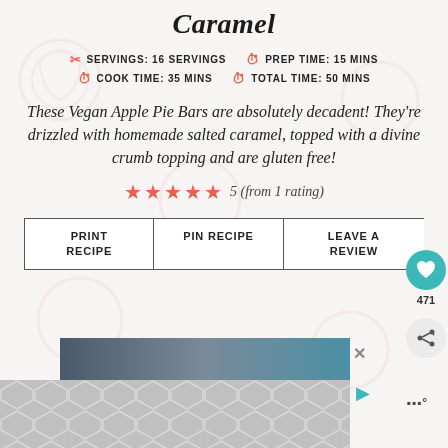Caramel
SERVINGS: 16 SERVINGS   PREP TIME: 15 MINS   COOK TIME: 35 MINS   TOTAL TIME: 50 MINS
These Vegan Apple Pie Bars are absolutely decadent! They're drizzled with homemade salted caramel, topped with a divine crumb topping and are gluten free!
5 (from 1 rating)
PRINT RECIPE   PIN RECIPE   LEAVE A REVIEW
[Figure (screenshot): Advertisement banner at bottom of page with geometric pattern background]